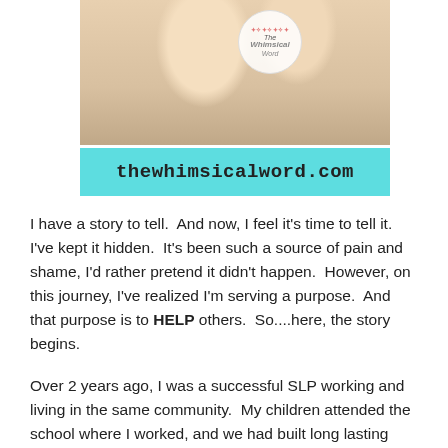[Figure (photo): Photo of a baby or toddler's legs/feet against a light background, with a circular logo overlay reading 'The Whimsical Word']
thewhimsicalword.com
I have a story to tell.  And now, I feel it's time to tell it.  I've kept it hidden.  It's been such a source of pain and shame, I'd rather pretend it didn't happen.  However, on this journey, I've realized I'm serving a purpose.  And that purpose is to HELP others.  So....here, the story begins.
Over 2 years ago, I was a successful SLP working and living in the same community.  My children attended the school where I worked, and we had built long lasting relationships with beautiful families in the area we worked and lived in.